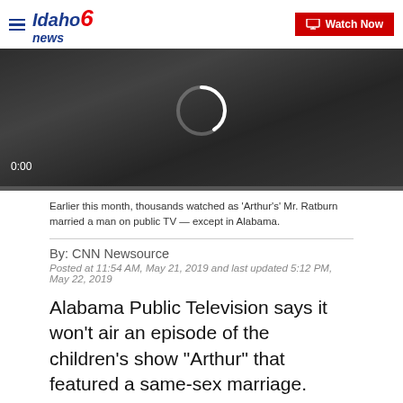Idaho News 6 | Watch Now
[Figure (screenshot): Video player thumbnail showing a crowd scene with loading spinner, timecode 0:00, and a red progress bar at the bottom.]
Earlier this month, thousands watched as 'Arthur's' Mr. Ratburn married a man on public TV — except in Alabama.
By: CNN Newsource
Posted at 11:54 AM, May 21, 2019 and last updated 5:12 PM, May 22, 2019
Alabama Public Television says it won't air an episode of the children's show "Arthur" that featured a same-sex marriage.
"Mr. Ratburn and the Special Someone" aired as the premiere for the show's 22nd season on May 13. But not in Alabama.